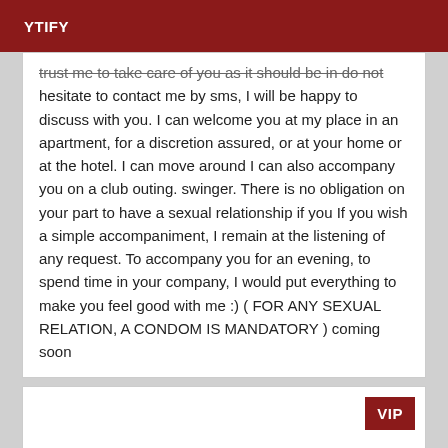YTIFY
trust me to take care of you as it should be in do not hesitate to contact me by sms, I will be happy to discuss with you. I can welcome you at my place in an apartment, for a discretion assured, or at your home or at the hotel. I can move around I can also accompany you on a club outing. swinger. There is no obligation on your part to have a sexual relationship if you If you wish a simple accompaniment, I remain at the listening of any request. To accompany you for an evening, to spend time in your company, I would put everything to make you feel good with me :) ( FOR ANY SEXUAL RELATION, A CONDOM IS MANDATORY ) coming soon
[Figure (other): White card with VIP badge in red at top right corner]